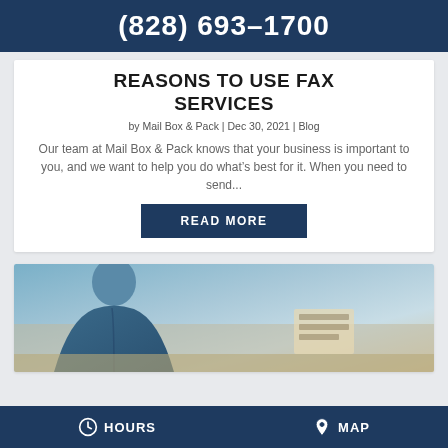(828) 693-1700
REASONS TO USE FAX SERVICES
by Mail Box & Pack | Dec 30, 2021 | Blog
Our team at Mail Box & Pack knows that your business is important to you, and we want to help you do what’s best for it. When you need to send…
READ MORE
[Figure (photo): Photo of a person in a blue jacket, partially visible, seated near a desk or counter area with items in background]
HOURS   MAP